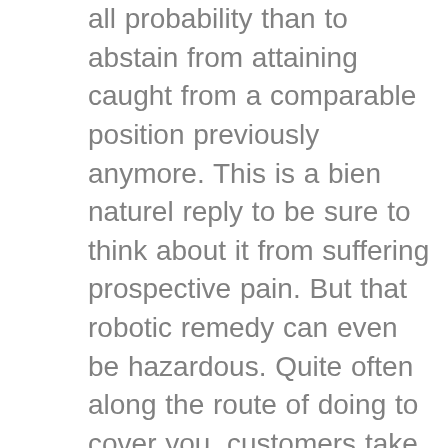all probability than to abstain from attaining caught from a comparable position previously anymore. This is a bien naturel reply to be sure to think about it from suffering prospective pain. But that robotic remedy can even be hazardous. Quite often along the route of doing to cover you, customers take with you your psychological bags and break your own future relationships under that massive weighting. And what you should do is Let me teach you great ways to make your best effort try to avoid pain that is future poisoning a marriages en route. How baggage that is emotional in next marriages Every time you properly begin with recent working relationships, your own actual fears influence those connections. You can be fretted those new people will subsequently harm you should